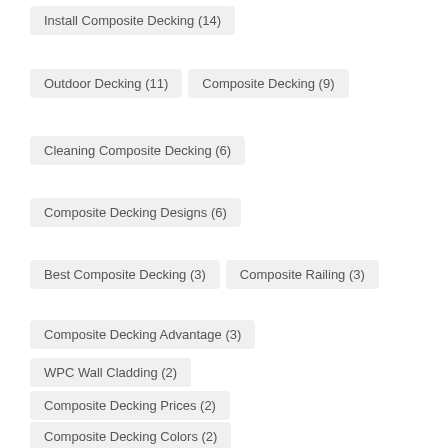Install Composite Decking (14)
Outdoor Decking (11)
Composite Decking (9)
Cleaning Composite Decking (6)
Composite Decking Designs (6)
Best Composite Decking (3)
Composite Railing (3)
Composite Decking Advantage (3)
WPC Wall Cladding (2)
Composite Decking Prices (2)
Composite Decking Colors (2)
Outdoor Deck Design (2)